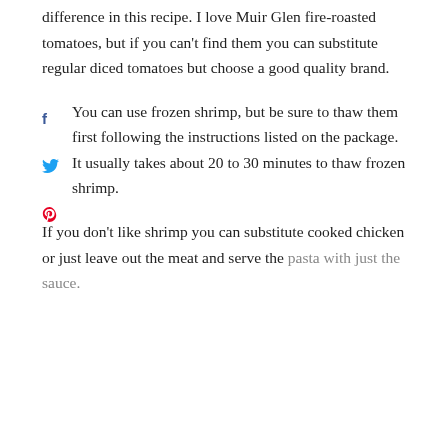difference in this recipe. I love Muir Glen fire-roasted tomatoes, but if you can't find them you can substitute regular diced tomatoes but choose a good quality brand.
You can use frozen shrimp, but be sure to thaw them first following the instructions listed on the package. It usually takes about 20 to 30 minutes to thaw frozen shrimp.
If you don't like shrimp you can substitute cooked chicken or just leave out the meat and serve the pasta with just the sauce.